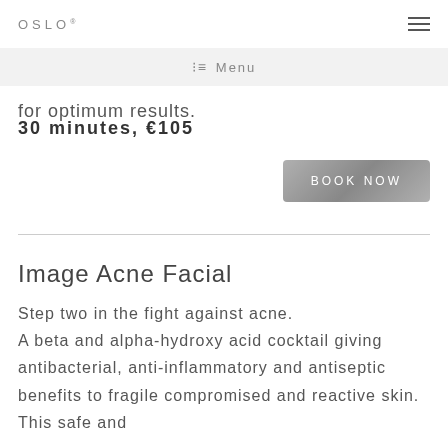OSLO® ☰
Menu
for optimum results.
30 minutes, €105
BOOK NOW
Image Acne Facial
Step two in the fight against acne. A beta and alpha-hydroxy acid cocktail giving antibacterial, anti-inflammatory and antiseptic benefits to fragile compromised and reactive skin. This safe and